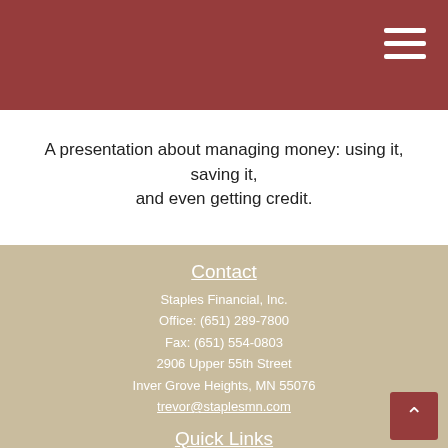A presentation about managing money: using it, saving it, and even getting credit.
Contact
Staples Financial, Inc.
Office: (651) 289-7800
Fax: (651) 554-0803
2906 Upper 55th Street
Inver Grove Heights, MN 55076
trevor@staplesmn.com
Quick Links
Retirement
Investment